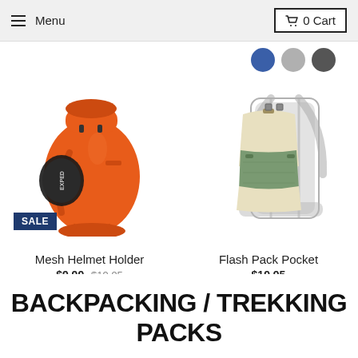Menu  0 Cart
[Figure (photo): Orange EXPED Mesh Helmet Holder backpack accessory with a black mesh pocket, shown with a SALE badge]
Mesh Helmet Holder
$9.99 $19.95
[Figure (photo): Flash Pack Pocket accessory shown attached to a large backpacking pack frame, in beige and green colors]
Flash Pack Pocket
$19.95
BACKPACKING / TREKKING PACKS